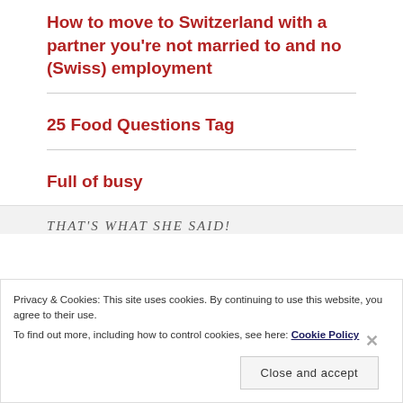How to move to Switzerland with a partner you're not married to and no (Swiss) employment
25 Food Questions Tag
Full of busy
THAT'S WHAT SHE SAID!
Privacy & Cookies: This site uses cookies. By continuing to use this website, you agree to their use.
To find out more, including how to control cookies, see here: Cookie Policy
Close and accept